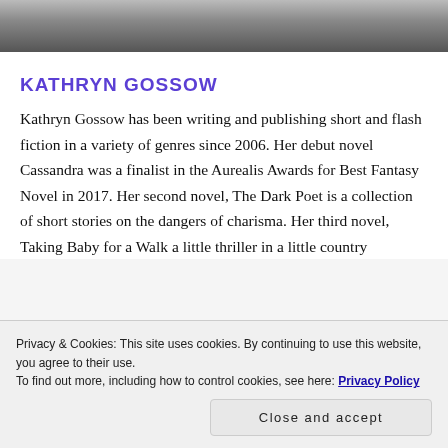[Figure (photo): Partial photo of a person with blonde hair, cropped at the top of the page]
KATHRYN GOSSOW
Kathryn Gossow has been writing and publishing short and flash fiction in a variety of genres since 2006. Her debut novel Cassandra was a finalist in the Aurealis Awards for Best Fantasy Novel in 2017. Her second novel, The Dark Poet is a collection of short stories on the dangers of charisma. Her third novel, Taking Baby for a Walk a little thriller in a little country
Privacy & Cookies: This site uses cookies. By continuing to use this website, you agree to their use.
To find out more, including how to control cookies, see here: Privacy Policy
Close and accept